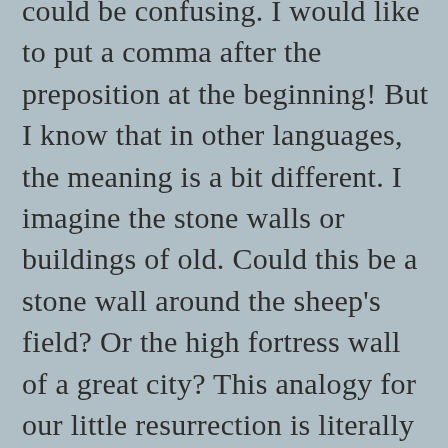could be confusing. I would like to put a comma after the preposition at the beginning! But I know that in other languages, the meaning is a bit different. I imagine the stone walls or buildings of old. Could this be a stone wall around the sheep's field? Or the high fortress wall of a great city? This analogy for our little resurrection is literally uplifting! Today, I may be stuck in the chaos and cares I face. Today, I may be stuck in bad habits that I don't even see anymore! The image of feeling lighter and dropping all the useless baggage I carry has been a theme for me this year. I'm letting go. If the person I want to be is free, I want to let go of the things holding me back. Sometimes, that can be material possessions like clothing or shoes I don't wear or even need anymore. It could be spending